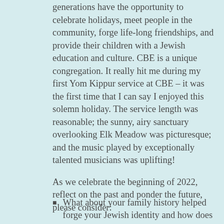generations have the opportunity to celebrate holidays, meet people in the community, forge life-long friendships, and provide their children with a Jewish education and culture. CBE is a unique congregation. It really hit me during my first Yom Kippur service at CBE – it was the first time that I can say I enjoyed this solemn holiday. The service length was reasonable; the sunny, airy sanctuary overlooking Elk Meadow was picturesque; and the music played by exceptionally talented musicians was uplifting!
As we celebrate the beginning of 2022, reflect on the past and ponder the future, please consider:
What about your family history helped forge your Jewish identity and how does